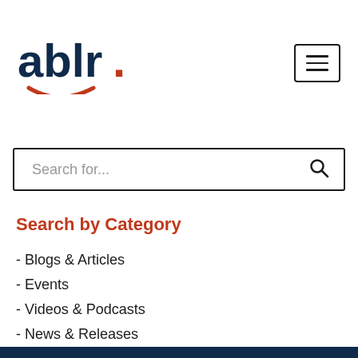[Figure (logo): ablr. logo with dark navy text and orange dot and smile arc beneath]
[Figure (other): Hamburger menu button icon with three horizontal lines inside a bordered rectangle]
Search for...
Search by Category
- Blogs & Articles
- Events
- Videos & Podcasts
- News & Releases